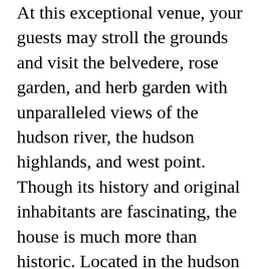At this exceptional venue, your guests may stroll the grounds and visit the belvedere, rose garden, and herb garden with unparalleled views of the hudson river, the hudson highlands, and west point. Though its history and original inhabitants are fascinating, the house is much more than historic. Located in the hudson valley fifty miles north of manhattan, boscobel directly overlooks the hudson river and west point. Boscobel house and gardens, garrison, ny. Boscobel house and gardens is considered one of the leading [CLOSE X] house museums